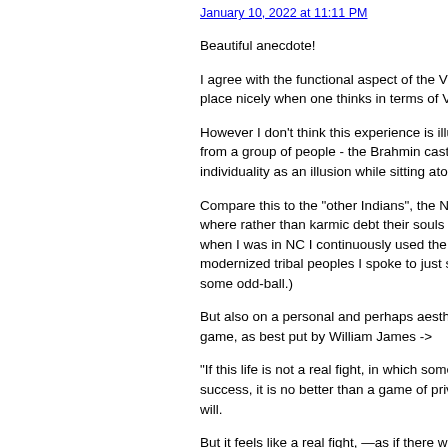January 10, 2022 at 11:11 PM
Beautiful anecdote!
I agree with the functional aspect of the VR- place nicely when one thinks in terms of Virt-
However I don't think this experience is illus- from a group of people - the Brahmin caste - individuality as an illusion while sitting atop
Compare this to the "other Indians", the Nati- where rather than karmic debt their souls cho- when I was in NC I continuously used the te- modernized tribal peoples I spoke to just said some odd-ball.)
But also on a personal and perhaps aesthetic game, as best put by William James ->
"If this life is not a real fight, in which some- success, it is no better than a game of private will.
But it feels like a real fight, —as if there wer- which we, with all our idealities and faithful-